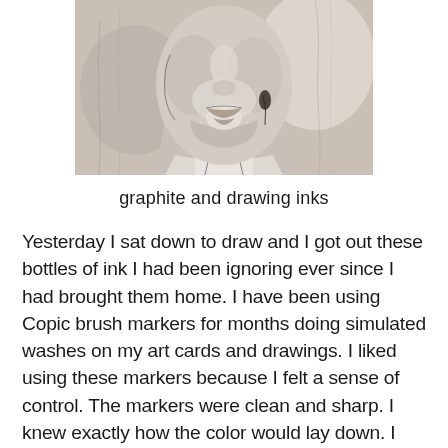[Figure (illustration): A graphite and ink drawing of a person's face and neck/collar area, rendered in grey tones with expressive shading. The figure appears to be looking slightly downward, with visible chin, lips, and neck details. Background has loose gestural strokes.]
graphite and drawing inks
Yesterday I sat down to draw and I got out these bottles of ink I had been ignoring ever since I had brought them home. I have been using Copic brush markers for months doing simulated washes on my art cards and drawings. I liked using these markers because I felt a sense of control. The markers were clean and sharp. I knew exactly how the color would lay down. I didn't have to worry about drips or spatters. I could get the look